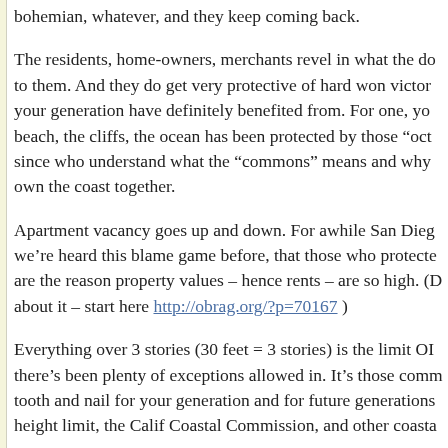bohemian, whatever, and they keep coming back.
The residents, home-owners, merchants revel in what the do to them. And they do get very protective of hard won victor your generation have definitely benefited from. For one, yo beach, the cliffs, the ocean has been protected by those “oct since who understand what the “commons” means and why own the coast together.
Apartment vacancy goes up and down. For awhile San Dieg we’re heard this blame game before, that those who protecte are the reason property values – hence rents – are so high. (D about it – start here http://obrag.org/?p=70167 )
Everything over 3 stories (30 feet = 3 stories) is the limit OI there’s been plenty of exceptions allowed in. It’s those comm tooth and nail for your generation and for future generations height limit, the Calif Coastal Commission, and other coasta